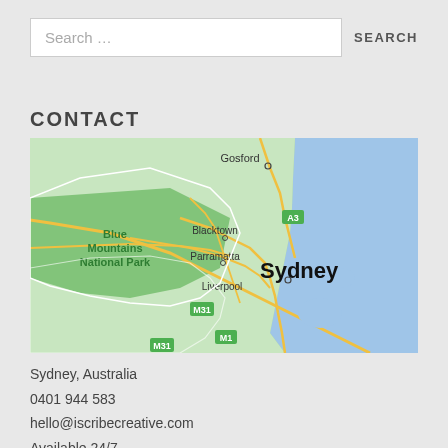Search …
CONTACT
[Figure (map): Google Maps screenshot showing Sydney, Australia and surrounding region including Blue Mountains National Park, Blacktown, Parramatta, Liverpool, Gosford, with roads M31, M1, A3 marked.]
Sydney, Australia
0401 944 583
hello@iscribecreative.com
Available 24/7